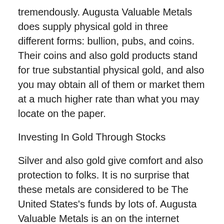tremendously. Augusta Valuable Metals does supply physical gold in three different forms: bullion, pubs, and coins. Their coins and also gold products stand for true substantial physical gold, and also you may obtain all of them or market them at a much higher rate than what you may locate on the paper.
Investing In Gold Through Stocks
Silver and also gold give comfort and also protection to folks. It is no surprise that these metals are considered to be The United States's funds by lots of. Augusta Valuable Metals is an on the internet metal establishment that gives reduced premiums on a variety of products. The business believes that diversity is the most ideal